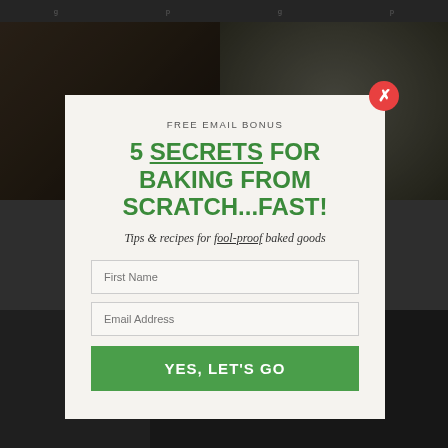[Figure (screenshot): Website background showing baking-related food photos in a dark grid layout with navigation bar at top]
FREE EMAIL BONUS
5 SECRETS FOR BAKING FROM SCRATCH...FAST!
Tips & recipes for fool-proof baked goods
First Name
Email Address
YES, LET'S GO